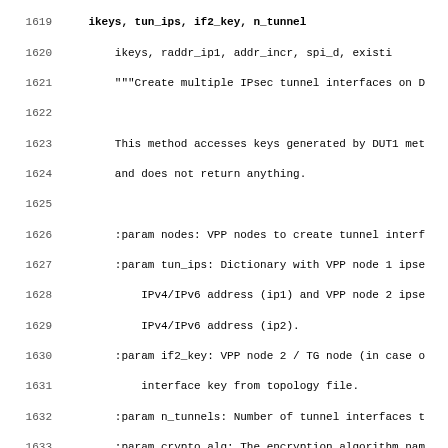Code listing lines 1619-1651 showing Python docstring and parameter documentation for a method that creates multiple IPsec tunnel interfaces on DUT nodes.